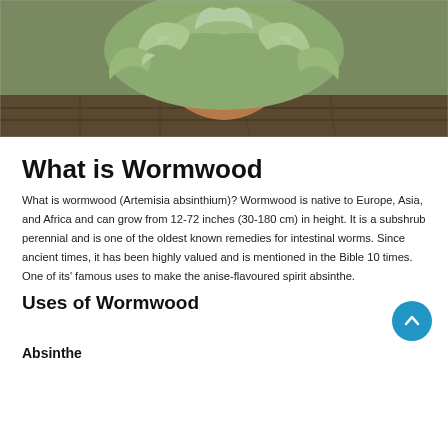[Figure (photo): A wormwood plant (Artemisia absinthium) in a terracotta pot on a wooden surface, with silvery-green feathery leaves]
What is Wormwood
What is wormwood (Artemisia absinthium)? Wormwood is native to Europe, Asia, and Africa and can grow from 12-72 inches (30-180 cm) in height. It is a subshrub perennial and is one of the oldest known remedies for intestinal worms. Since ancient times, it has been highly valued and is mentioned in the Bible 10 times. One of its' famous uses to make the anise-flavoured spirit absinthe.
Uses of Wormwood
Absinthe